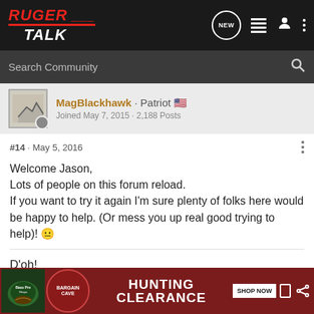[Figure (screenshot): Ruger Talk forum navigation bar with logo, search, and icons]
MagBlackhawk · Patriot 🇺🇸
Joined May 7, 2015 · 2,188 Posts
#14 · May 5, 2016
Welcome Jason,
Lots of people on this forum reload.
If you want to try it again I'm sure plenty of folks here would be happy to help. (Or mess you up real good trying to help)! 😐
D'oh!
[Figure (photo): Bass Pro Shops Hunting Clearance advertisement banner with Bargain Cave and Shop Now button]